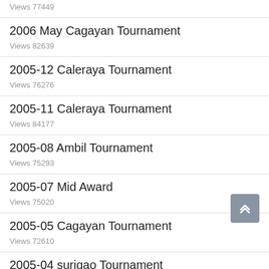Views 77449
2006 May Cagayan Tournament
Views 82639
2005-12 Caleraya Tournament
Views 76276
2005-11 Caleraya Tournament
Views 84177
2005-08 Ambil Tournament
Views 75293
2005-07 Mid Award
Views 75020
2005-05 Cagayan Tournament
Views 72610
2005-04 surigao Tournament